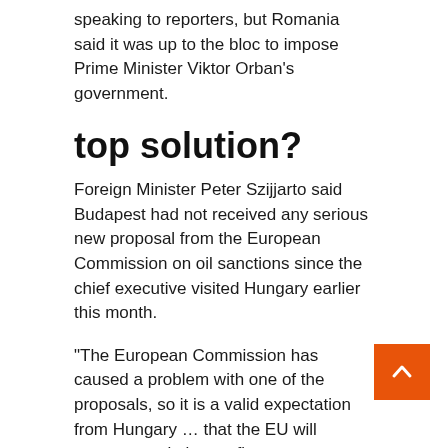speaking to reporters, but Romania said it was up to the bloc to impose Prime Minister Viktor Orban's government.
top solution?
Foreign Minister Peter Szijjarto said Budapest had not received any serious new proposal from the European Commission on oil sanctions since the chief executive visited Hungary earlier this month.
“The European Commission has caused a problem with one of the proposals, so it is a valid expectation from Hungary … that the EU will present a solution: to finance investments and offset … the price hike (output) that necessitates a comprehensive modernization of Hungary’s energy structure by between 15 and 18 billion euros.